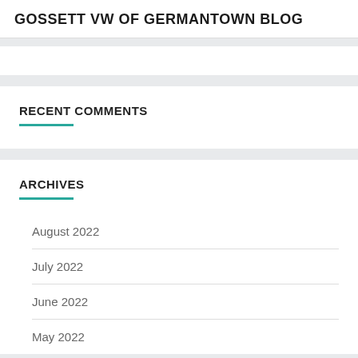GOSSETT VW OF GERMANTOWN BLOG
RECENT COMMENTS
ARCHIVES
August 2022
July 2022
June 2022
May 2022